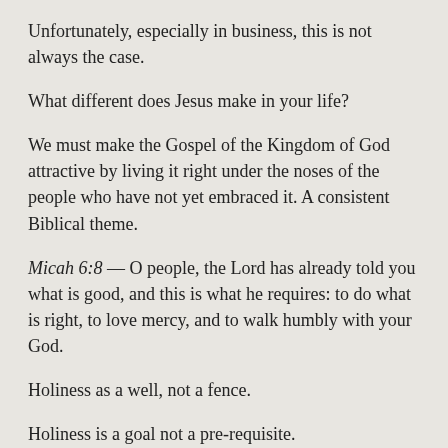Unfortunately, especially in business, this is not always the case.
What different does Jesus make in your life?
We must make the Gospel of the Kingdom of God attractive by living it right under the noses of the people who have not yet embraced it. A consistent Biblical theme.
Micah 6:8 — O people, the Lord has already told you what is good, and this is what he requires: to do what is right, to love mercy, and to walk humbly with your God.
Holiness as a well, not a fence.
Holiness is a goal not a pre-requisite.
Holiness is not a prerequisite to it...